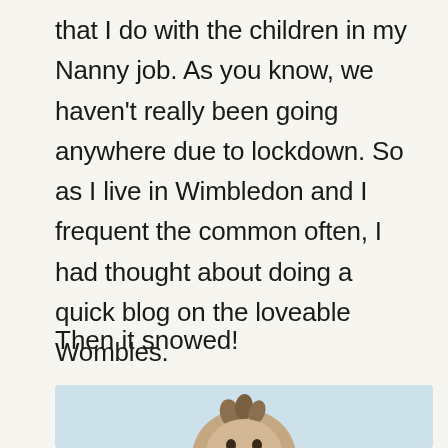that I do with the children in my Nanny job. As you know, we haven't really been going anywhere due to lockdown. So as I live in Wimbledon and I frequent the common often, I had thought about doing a quick blog on the loveable Wombles.
Then it snowed!
[Figure (photo): A Womble character figure photographed outdoors against a light blue/grey sky background, showing the top portion of the furry character with tufted hair.]